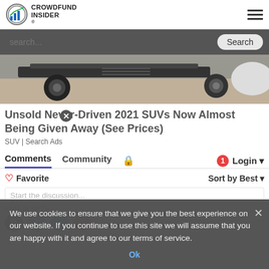CROWDFUND INSIDER
[Figure (screenshot): Search bar with gray background, placeholder text 'search...' and a Search button]
[Figure (photo): Partial car undercarriage photo showing vehicle bottom and wheel on sandy/wet ground]
Unsold Never-Driven 2021 SUVs Now Almost Being Given Away (See Prices)
SUV | Search Ads
Comments  Community  🔒  1  Login
❤ Favorite   Sort by Best
We use cookies to ensure that we give you the best experience on our website. If you continue to use this site we will assume that you are happy with it and agree to our terms of service.
Ok
Start the discussion...
LOG IN WITH
[Figure (screenshot): Social login icons: dark (Disqus), Facebook blue, Twitter teal, Google red]